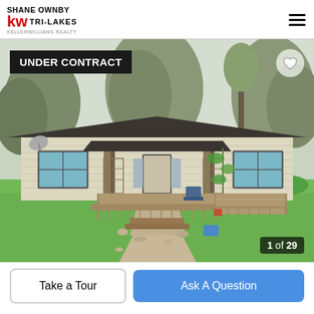SHANE OWNBY
KW TRI-LAKES
KELLER WILLIAMS REALTY
[Figure (photo): Exterior photo of a single-story ranch-style house with cream/yellow siding, dark roof, front porch with wood deck, surrounded by green lawn and trees. Badge overlay reads 'UNDER CONTRACT'. Photo counter shows '1 of 29'.]
UNDER CONTRACT
1 of 29
Take a Tour
Ask A Question